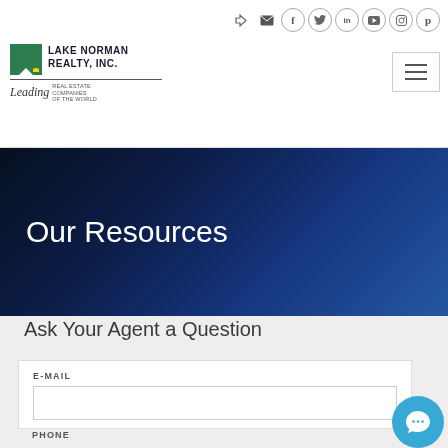Lake Norman Realty, Inc. — Leading Real Estate Companies of the World
[Figure (logo): Lake Norman Realty, Inc. logo with Leading Real Estate Companies of the World tagline]
Our Resources
Ask Your Agent a Question
E-MAIL
PHONE